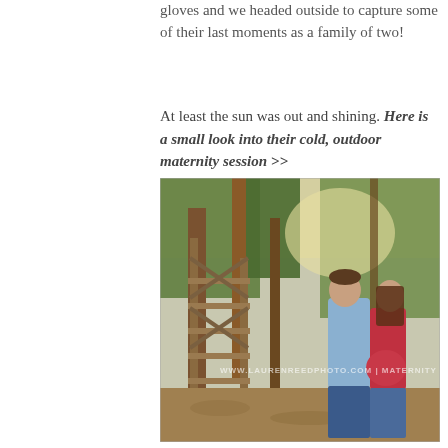gloves and we headed outside to capture some of their last moments as a family of two!
At least the sun was out and shining. Here is a small look into their cold, outdoor maternity session >>
[Figure (photo): A couple standing in a wooded outdoor area with tall pine trees and a rustic wooden structure/ladder on the left. The man wears a light blue shirt and jeans; the woman wears a red top and jeans, visibly pregnant. Watermark reads: WWW.LAURENREEDPHOTO.COM | MATERNITY]